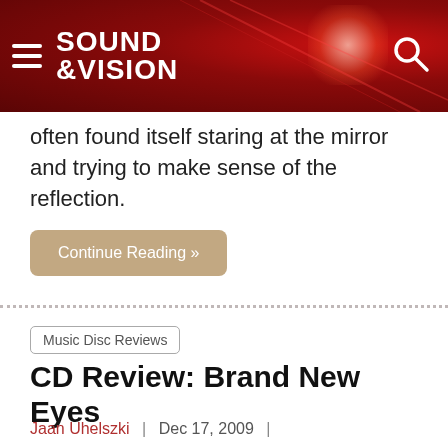Sound & Vision
often found itself staring at the mirror and trying to make sense of the reflection.
Continue Reading »
Music Disc Reviews
CD Review: Brand New Eyes
Jaan Uhelszki | Dec 17, 2009 |
[Figure (photo): Black and white photo of three men standing outdoors near hedges and a road with hills in background]